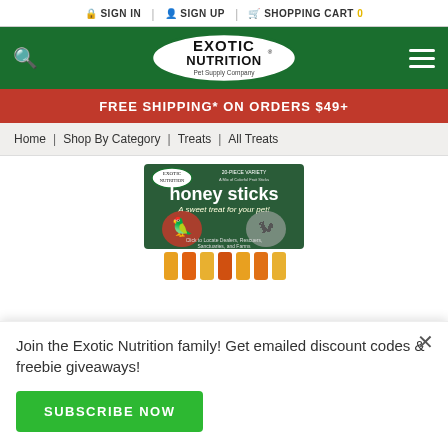SIGN IN | SIGN UP | SHOPPING CART 0
[Figure (logo): Exotic Nutrition Pet Supply Company logo — white oval with green border, bold black text 'EXOTIC NUTRITION' and smaller text 'Pet Supply Company']
FREE SHIPPING* ON ORDERS $49+
Home | Shop By Category | Treats | All Treats
[Figure (photo): Exotic Nutrition honey sticks product package — dark green packaging with colorful honey sticks, parrot and sugar glider images, text 'honey sticks - A sweet treat for your pet!']
Join the Exotic Nutrition family! Get emailed discount codes & freebie giveaways!
SUBSCRIBE NOW